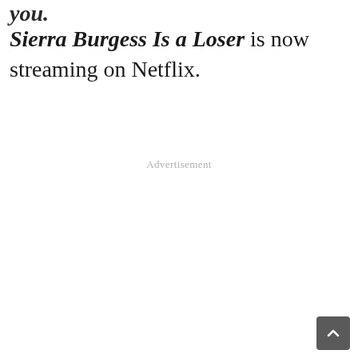you.
Sierra Burgess Is a Loser is now streaming on Netflix.
Advertisement